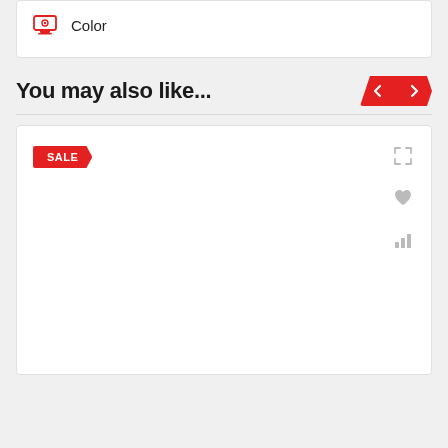[Figure (screenshot): Top card with a red settings/laptop icon and the text 'Color' beside it]
You may also like...
[Figure (screenshot): Product card with a red SALE badge in the top-left and three grey action icons (expand, heart, bar-chart) on the right side]